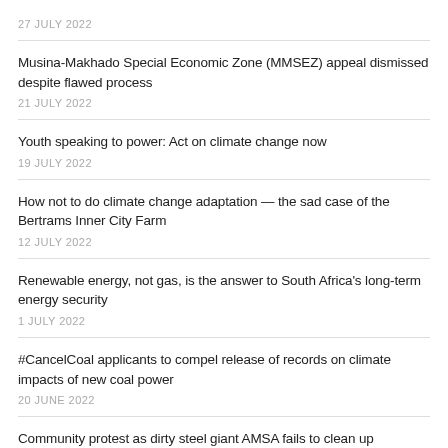27 JULY 2022
Musina-Makhado Special Economic Zone (MMSEZ) appeal dismissed despite flawed process — 21 JULY 2022
Youth speaking to power: Act on climate change now — 19 JULY 2022
How not to do climate change adaptation — the sad case of the Bertrams Inner City Farm — 12 JULY 2022
Renewable energy, not gas, is the answer to South Africa's long-term energy security — 1 JULY 2022
#CancelCoal applicants to compel release of records on climate impacts of new coal power — 20 JUNE 2022
Community protest as dirty steel giant AMSA fails to clean up